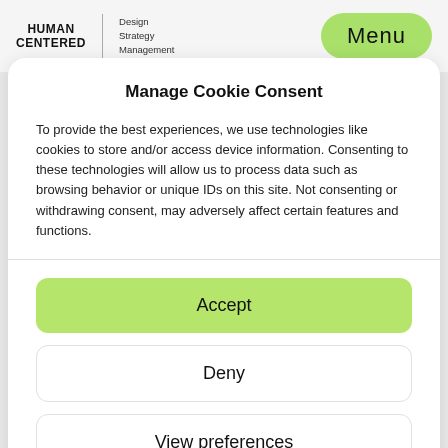HUMAN CENTERED | Design Strategy Management  Menu
Manage Cookie Consent
To provide the best experiences, we use technologies like cookies to store and/or access device information. Consenting to these technologies will allow us to process data such as browsing behavior or unique IDs on this site. Not consenting or withdrawing consent, may adversely affect certain features and functions.
Accept
Deny
View preferences
Impressum  Datenschutz